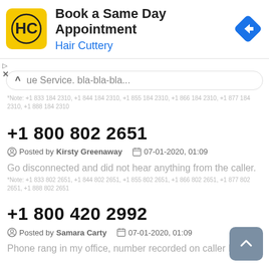[Figure (infographic): Hair Cuttery advertisement banner with logo, title 'Book a Same Day Appointment', subtitle 'Hair Cuttery', and a blue navigation arrow icon on the right.]
ue Service. bla-bla-bla...
*Note: +1 833 184 2310, +1 844 184 2310, +1 855 184 2310, +1 866 184 2310, +1 877 184 2310, +1 888 184 2310
+1 800 802 2651
Posted by Kirsty Greenaway   07-01-2020, 01:09
Go disconnected and did not hear anything from the caller.
*Note: +1 833 802 2651, +1 844 802 2651, +1 855 802 2651, +1 866 802 2651, +1 877 802 2651, +1 888 802 2651
+1 800 420 2992
Posted by Samara Carty   07-01-2020, 01:09
Phone rang in my office, number recorded on caller ID.